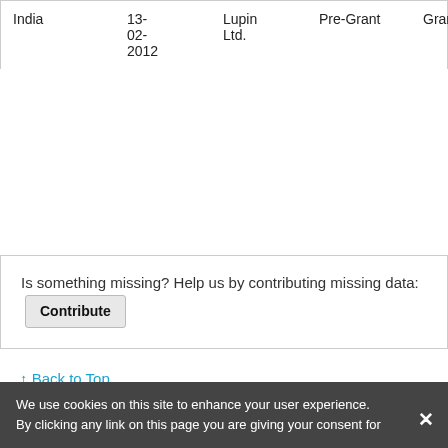| Country | Date | Assignee | Type | Status | Subject |
| --- | --- | --- | --- | --- | --- |
| India | 13-02-2012 | Lupin Ltd. | Pre-Grant | Granted | Polym… |
Is something missing? Help us by contributing missing data: Contribute
↑ Back to Top
We use cookies on this site to enhance your user experience. By clicking any link on this page you are giving your consent for